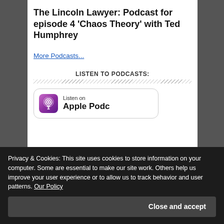The Lincoln Lawyer: Podcast for episode 4 ‘Chaos Theory’ with Ted Humphrey
More Podcasts...
LISTEN TO PODCASTS:
[Figure (logo): Listen on Apple Podcasts button with purple podcast icon]
Privacy & Cookies: This site uses cookies to store information on your computer. Some are essential to make our site work. Others help us improve your user experience or to allow us to track behavior and user patterns. Our Policy
Close and accept